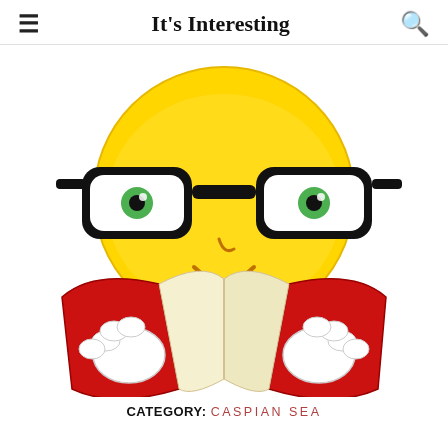≡   It's Interesting   🔍
[Figure (illustration): A yellow smiley face emoji wearing black-rimmed glasses, holding and reading an open red book with both white-gloved hands.]
CATEGORY: CASPIAN SEA